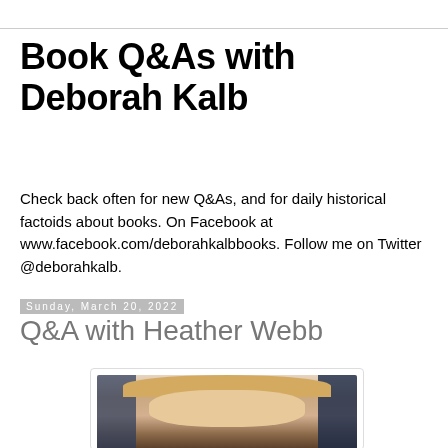Book Q&As with Deborah Kalb
Check back often for new Q&As, and for daily historical factoids about books. On Facebook at www.facebook.com/deborahkalbbooks. Follow me on Twitter @deborahkalb.
Sunday, March 20, 2022
Q&A with Heather Webb
[Figure (photo): Portrait photo of Heather Webb, a blonde woman photographed from the shoulders up inside a vehicle.]